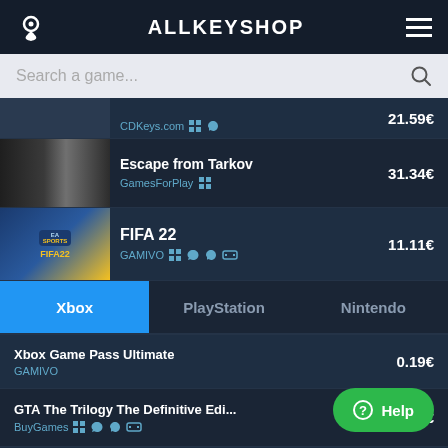ALLKEYSHOP
Search a game...
CDKeys.com — 21.59€
Escape from Tarkov — GamesForPlay — 31.34€
FIFA 22 — GAMIVO — 11.11€
Xbox | PlayStation | Nintendo
Xbox Game Pass Ultimate — GAMIVO — 0.19€
GTA The Trilogy The Definitive Edi... — BuyGames — 28.03€
Forza Horizon 4 PC/Xbox One — BuyGames — 9.83€
Forza Horizon 5 Xbox One — BuyGames